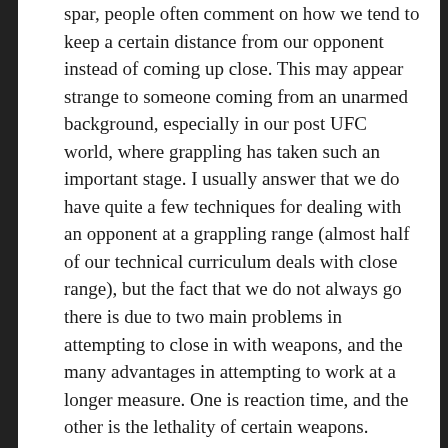spar, people often comment on how we tend to keep a certain distance from our opponent instead of coming up close. This may appear strange to someone coming from an unarmed background, especially in our post UFC world, where grappling has taken such an important stage. I usually answer that we do have quite a few techniques for dealing with an opponent at a grappling range (almost half of our technical curriculum deals with close range), but the fact that we do not always go there is due to two main problems in attempting to close in with weapons, and the many advantages in attempting to work at a longer measure. One is reaction time, and the other is the lethality of certain weapons.
To better understand it, let's look at some concepts of distance and time. We borrow some of George Silver expressions here when dealing with distance: time of the